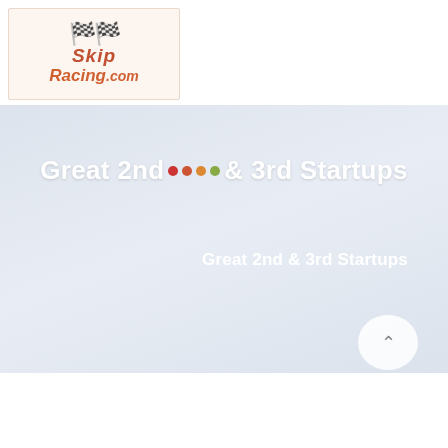[Figure (logo): SkipRacing.com logo with decorative wings and racing-style italic text]
Great 2nd & 3rd Startups
Great 2nd & 3rd Startups